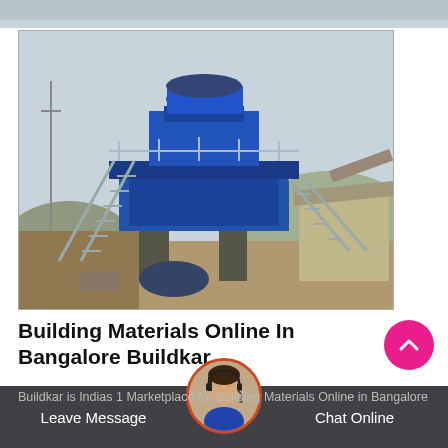[Figure (photo): Top image strip partially visible at top of page]
[Figure (photo): Industrial blue crushing/milling machine on a construction/quarry site with metal staircase, outdoor setting with hills in background]
Building Materials Online In Bangalore Buildkar
Buildkar is Indias 1 Marketplace for Building Materials Online in Bangalore
Leave Message   Chat Online